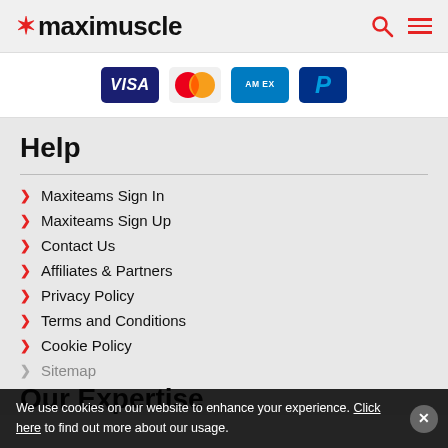maximuscle
[Figure (logo): Payment method logos: VISA, Mastercard, AMEX, PayPal]
Help
Maxiteams Sign In
Maxiteams Sign Up
Contact Us
Affiliates & Partners
Privacy Policy
Terms and Conditions
Cookie Policy
Sitemap
Our Expertise
We use cookies on our website to enhance your experience. Click here to find out more about our usage.